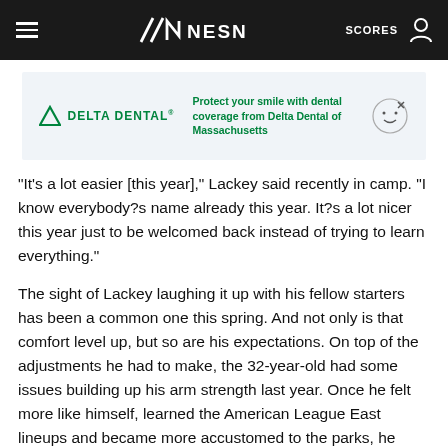NESN — SCORES
[Figure (other): Delta Dental advertisement banner: 'Protect your smile with dental coverage from Delta Dental of Massachusetts']
"It's a lot easier [this year]," Lackey said recently in camp. "I know everybody?s name already this year. It?s a lot nicer this year just to be welcomed back instead of trying to learn everything."
The sight of Lackey laughing it up with his fellow starters has been a common one this spring. And not only is that comfort level up, but so are his expectations. On top of the adjustments he had to make, the 32-year-old had some issues building up his arm strength last year. Once he felt more like himself, learned the American League East lineups and became more accustomed to the parks, he